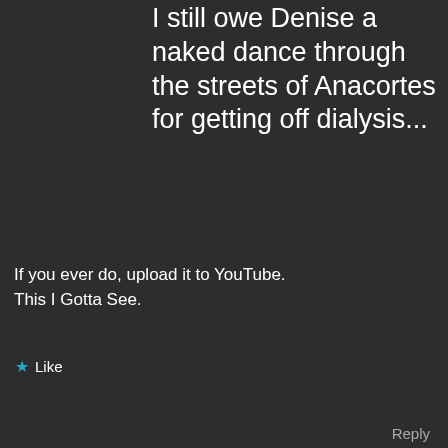I still owe Denise a naked dance through the streets of Anacortes for getting off dialysis...
If you ever do, upload it to YouTube. This I Gotta See.
★ Like
Reply
J. Michael Jones
October 2, 2019 at 12:22 am
I will. I won't be censored because no one will figure out what it is.